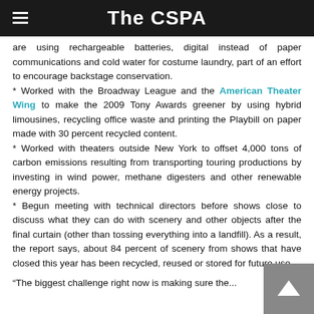The CSPA
are using rechargeable batteries, digital instead of paper communications and cold water for costume laundry, part of an effort to encourage backstage conservation.
* Worked with the Broadway League and the American Theater Wing to make the 2009 Tony Awards greener by using hybrid limousines, recycling office waste and printing the Playbill on paper made with 30 percent recycled content.
* Worked with theaters outside New York to offset 4,000 tons of carbon emissions resulting from transporting touring productions by investing in wind power, methane digesters and other renewable energy projects.
* Begun meeting with technical directors before shows close to discuss what they can do with scenery and other objects after the final curtain (other than tossing everything into a landfill). As a result, the report says, about 84 percent of scenery from shows that have closed this year has been recycled, reused or stored for future use.
“The biggest challenge right now is making sure the...